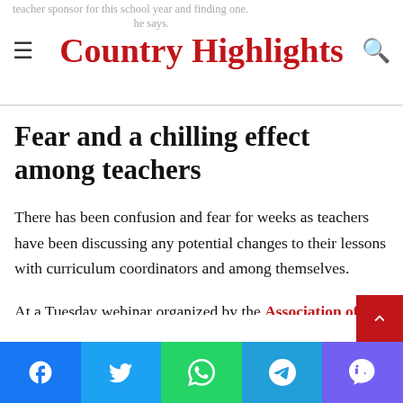Country Highlights
Fear and a chilling effect among teachers
There has been confusion and fear for weeks as teachers have been discussing any potential changes to their lessons with curriculum coordinators and among themselves.
At a Tuesday webinar organized by the Association of Texas Professional Educators, the largest teacher union in the state, members asked whether they will be allowed to discuss redlining in the classroom or let their students listen to clips from Martin Luther King
Facebook Twitter WhatsApp Telegram Viber